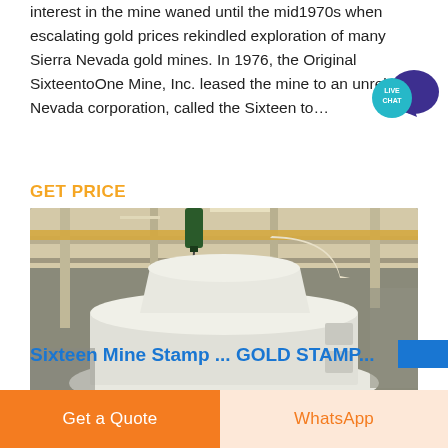interest in the mine waned until the mid1970s when escalating gold prices rekindled exploration of many Sierra Nevada gold mines. In 1976, the Original SixteentoOne Mine, Inc. leased the mine to an unrelated Nevada corporation, called the Sixteen to…
GET PRICE
[Figure (photo): Industrial photograph of a large white cone crusher or mill equipment inside a factory warehouse with overhead cranes and steel structural beams. A red chain hoist is visible at the top.]
Sixteen Mine Stamp ... GOLD STAMP...
Get a Quote
WhatsApp